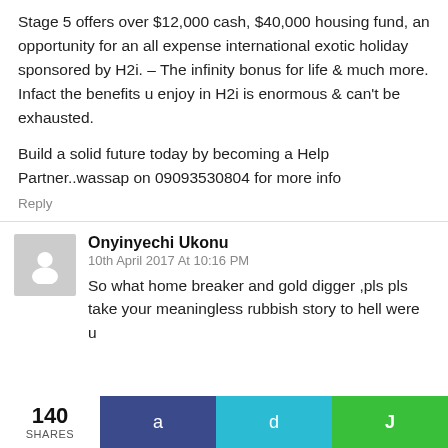Stage 5 offers over $12,000 cash, $40,000 housing fund, an opportunity for an all expense international exotic holiday sponsored by H2i. – The infinity bonus for life & much more. Infact the benefits u enjoy in H2i is enormous & can't be exhausted.

Build a solid future today by becoming a Help Partner..wassap on 09093530804 for more info
Reply
Onyinyechi Ukonu
10th April 2017 At 10:16 PM
So what home breaker and gold digger ,pls pls take your meaningless rubbish story to hell were u
140 SHARES
a
d
J